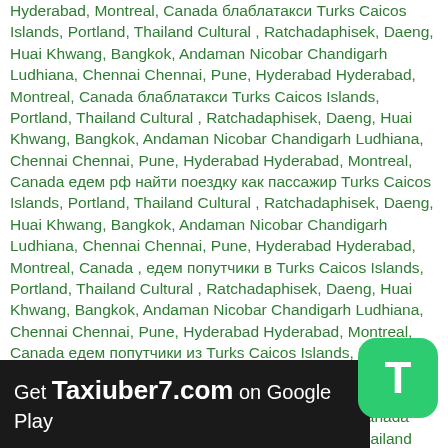Hyderabad, Montreal, Canada блаблатакси Turks Caicos Islands, Portland, Thailand Cultural , Ratchadaphisek, Daeng, Huai Khwang, Bangkok, Andaman Nicobar Chandigarh Ludhiana, Chennai Chennai, Pune, Hyderabad Hyderabad, Montreal, Canada блаблатакси Turks Caicos Islands, Portland, Thailand Cultural , Ratchadaphisek, Daeng, Huai Khwang, Bangkok, Andaman Nicobar Chandigarh Ludhiana, Chennai Chennai, Pune, Hyderabad Hyderabad, Montreal, Canada едем рф найти поездку как пассажир Turks Caicos Islands, Portland, Thailand Cultural , Ratchadaphisek, Daeng, Huai Khwang, Bangkok, Andaman Nicobar Chandigarh Ludhiana, Chennai Chennai, Pune, Hyderabad Hyderabad, Montreal, Canada , едем попутчики в Turks Caicos Islands, Portland, Thailand Cultural , Ratchadaphisek, Daeng, Huai Khwang, Bangkok, Andaman Nicobar Chandigarh Ludhiana, Chennai Chennai, Pune, Hyderabad Hyderabad, Montreal, Canada едем попутчики из Turks Caicos Islands, Portland, Thailand Cultural , Ratchadaphisek, Daeng, Huai Khwang, Bangkok, Andaman Nicobar Chandigarh Ludhiana, Chennai Chennai, Pune, Hyderabad Hyderabad, Montreal, Canada попутчик онлайн Turks Caicos Islands, Portland, Thailand Cultural , Ratchadaphisek, Daeng, Huai Khwang, Bangkok, Andaman Nicobar Chandigarh Ludhiana, Chennai Chennai, Pune, Hyderabad Hyderabad, Montreal, Canada бла бла car Turks Caicos Islands, Portland, Thailand Cultural , Ratchadaphisek, Daeng, Huai Khwang, Bangkok, Andaman Nicobar Chandigarh Ludhiana, Chennai Chennai, Pune, Hyderabad Hyderabad, Montreal, Canada блабл
Get Taxiuber7.com on Google Play